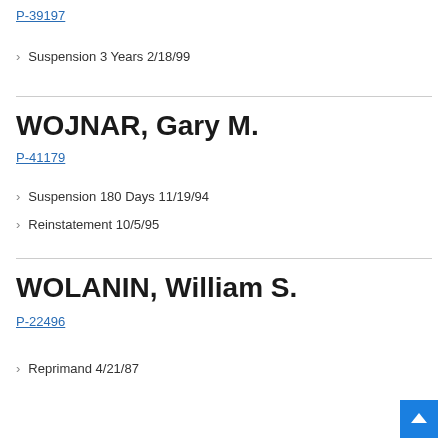P-39197
Suspension 3 Years 2/18/99
WOJNAR, Gary M.
P-41179
Suspension 180 Days 11/19/94
Reinstatement 10/5/95
WOLANIN, William S.
P-22496
Reprimand 4/21/87